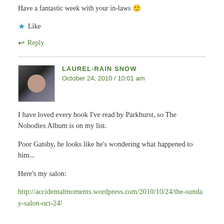Have a fantastic week with your in-laws 🙂
★ Like
↩ Reply
LAUREL-RAIN SNOW
October 24, 2010 / 10:01 am
I have loved every book I've read by Parkhurst, so The Nobodies Album is on my list.
Poor Gatsby, he looks like he's wondering what happened to him...
Here's my salon:
http://accidentalmoments.wordpress.com/2010/10/24/the-sunday-salon-oct-24/